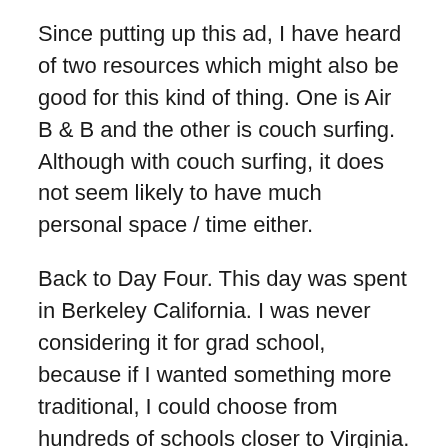Since putting up this ad, I have heard of two resources which might also be good for this kind of thing. One is Air B & B and the other is couch surfing. Although with couch surfing, it does not seem likely to have much personal space / time either.
Back to Day Four. This day was spent in Berkeley California. I was never considering it for grad school, because if I wanted something more traditional, I could choose from hundreds of schools closer to Virginia. Instead I was visiting UCB (a.k.a. Cal) because I had a friend who is doing his post doc work there, and to give me a sense of perspective with regard to the smaller schools I am interested in.
Yes, Berkeley does have one of the country's best Buddhist programs, but again, so does UVa. So I toured